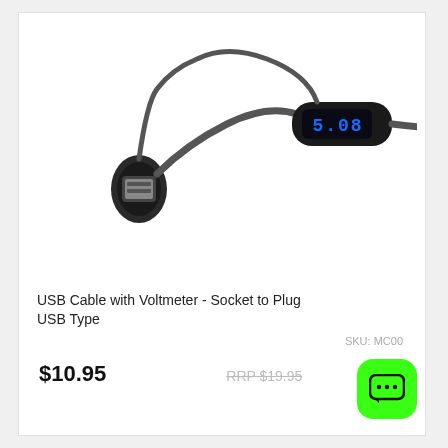[Figure (photo): USB cable with inline voltmeter showing blue LED display reading 5.08, with USB Type-A female socket on one end and USB plug on the other. Black cable and housing.]
USB Cable with Voltmeter - Socket to Plug USB Type
SKU: MC00
$10.95
RRP $19.95